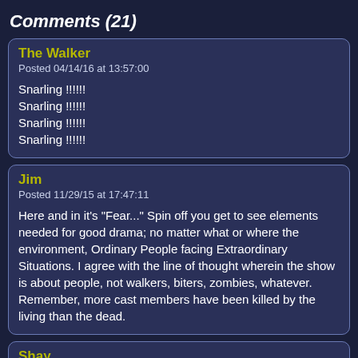Comments (21)
The Walker
Posted 04/14/16 at 13:57:00

Snarling !!!!!!
Snarling !!!!!!
Snarling !!!!!!
Snarling !!!!!!
Jim
Posted 11/29/15 at 17:47:11

Here and in it's "Fear..." Spin off you get to see elements needed for good drama; no matter what or where the environment, Ordinary People facing Extraordinary Situations. I agree with the line of thought wherein the show is about people, not walkers, biters, zombies, whatever. Remember, more cast members have been killed by the living than the dead.
Shay
Posted 11/17/15 at 10:31:59